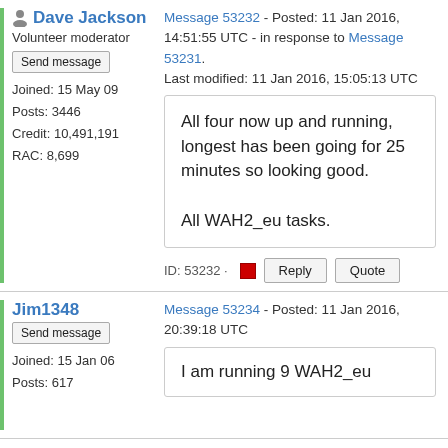Dave Jackson - Volunteer moderator
Send message
Joined: 15 May 09
Posts: 3446
Credit: 10,491,191
RAC: 8,699
Message 53232 - Posted: 11 Jan 2016, 14:51:55 UTC - in response to Message 53231. Last modified: 11 Jan 2016, 15:05:13 UTC
All four now up and running, longest has been going for 25 minutes so looking good.

All WAH2_eu tasks.
ID: 53232 · Reply · Quote
Jim1348
Send message
Joined: 15 Jan 06
Posts: 617
Message 53234 - Posted: 11 Jan 2016, 20:39:18 UTC
I am running 9 WAH2_eu ...